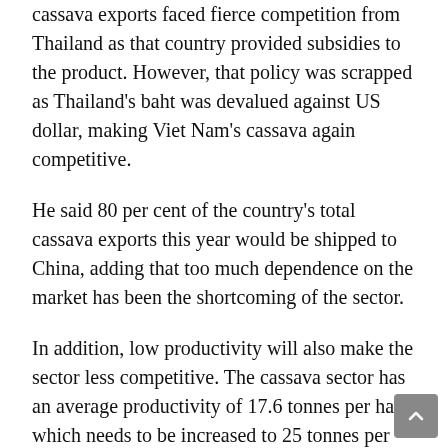cassava exports faced fierce competition from Thailand as that country provided subsidies to the product. However, that policy was scrapped as Thailand's baht was devalued against US dollar, making Viet Nam's cassava again competitive.
He said 80 per cent of the country's total cassava exports this year would be shipped to China, adding that too much dependence on the market has been the shortcoming of the sector.
In addition, low productivity will also make the sector less competitive. The cassava sector has an average productivity of 17.6 tonnes per ha, which needs to be increased to 25 tonnes per ha.
Businesses should link the areas cultivating the raw material to production to increase productivity, Tien said.